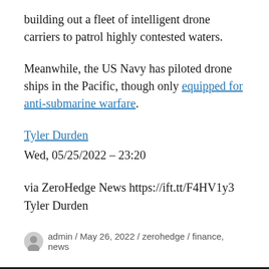building out a fleet of intelligent drone carriers to patrol highly contested waters.
Meanwhile, the US Navy has piloted drone ships in the Pacific, though only equipped for anti-submarine warfare.
Tyler Durden
Wed, 05/25/2022 – 23:20
via ZeroHedge News https://ift.tt/F4HV1y3
Tyler Durden
admin / May 26, 2022 / zerohedge / finance, news